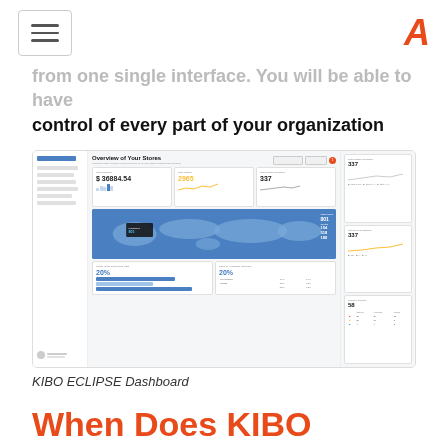[hamburger menu icon] [A logo]
from one single interface. You will be able to have control of every part of your organization
[Figure (screenshot): KIBO ECLIPSE Dashboard screenshot showing Overview of Your Stores with metrics including Total Earnings $36884.54, Total Orders 2965, Total Orders Canceled 337, Returning Customers 337, Online Store Conversion Rate 20%, Sales by Marketing Channels 20%, Support Queries 58, and a world map view with live data.]
KIBO ECLIPSE Dashboard
When Does KIBO